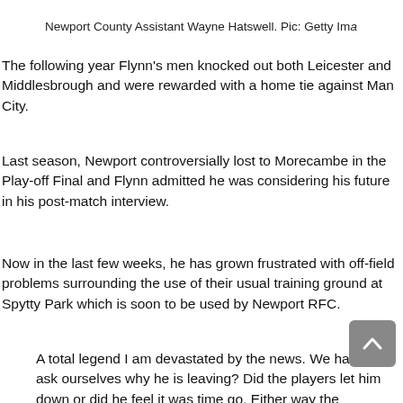Newport County Assistant Wayne Hatswell. Pic: Getty Ima
The following year Flynn's men knocked out both Leicester and Middlesbrough and were rewarded with a home tie against Man City.
Last season, Newport controversially lost to Morecambe in the Play-off Final and Flynn admitted he was considering his future in his post-match interview.
Now in the last few weeks, he has grown frustrated with off-field problems surrounding the use of their usual training ground at Spytty Park which is soon to be used by Newport RFC.
A total legend I am devastated by the news. We have to ask ourselves why he is leaving? Did the players let him down or did he feel it was time go. Either way the